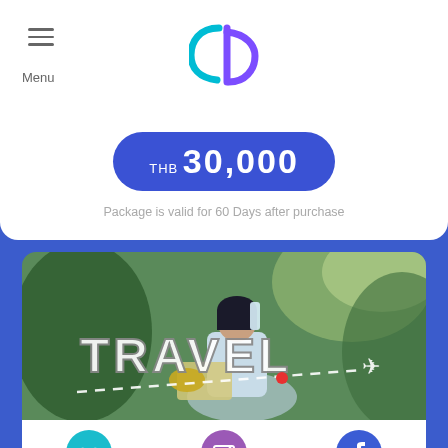Menu
THB 30,000
Package is valid for 60 Days after purchase
[Figure (photo): Woman drinking water with travel gear, overlaid with large 'TRAVEL' text and dashed airplane path graphic]
Collaborate with 15 Influencer
Photo
Facebook Profile
Re-ignite the passion to explore the world with Tellscore's #Travel Influencers Package that allows you to choose and